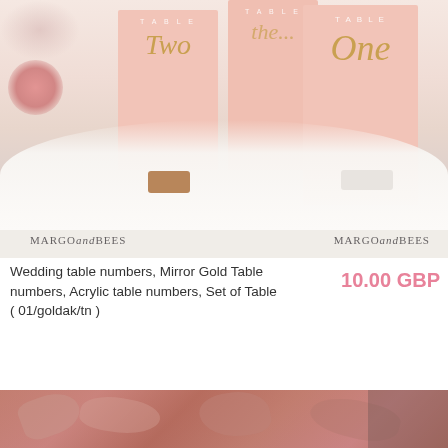[Figure (photo): Photo of blush pink acrylic table number cards with gold mirror numbers 'Two', 'Three', 'One' on wooden and white stands on a white tablecloth. Margo and Bees watermarks visible.]
Wedding table numbers, Mirror Gold Table numbers, Acrylic table numbers, Set of Table ( 01/goldak/tn )
10.00 GBP
[Figure (photo): Partial photo showing dried floral/pampas grass arrangement in dusty rose and blush pink tones.]